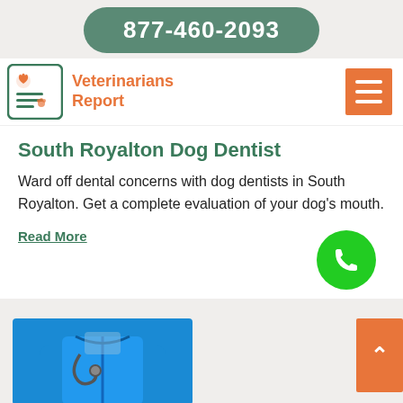877-460-2093
[Figure (logo): Veterinarians Report logo with animal icons and document illustration]
South Royalton Dog Dentist
Ward off dental concerns with dog dentists in South Royalton. Get a complete evaluation of your dog's mouth.
Read More
[Figure (photo): Photo of a veterinarian in blue scrubs/jacket with stethoscope]